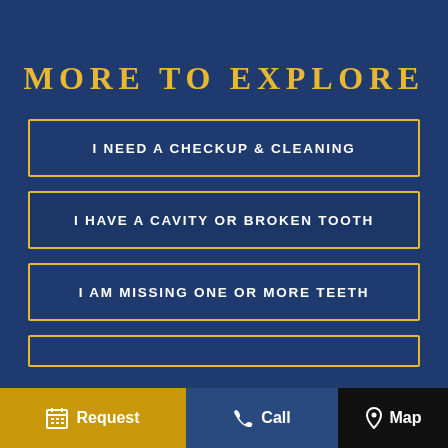MORE TO EXPLORE
I NEED A CHECKUP & CLEANING
I HAVE A CAVITY OR BROKEN TOOTH
I AM MISSING ONE OR MORE TEETH
Request   Call   Map